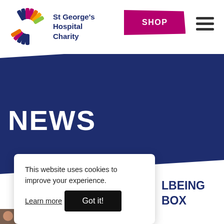[Figure (logo): St George's Hospital Charity logo - sunburst/star shape in multiple colors (navy, pink, orange, yellow, green) with organization name in dark navy text]
St George's Hospital Charity | SHOP
[Figure (screenshot): Dark navy diagonal banner section of website with 'NEWS' heading in white bold text]
NEWS
This website uses cookies to improve your experience. Learn more
Got it!
LBEING BOX N END
Last week our team